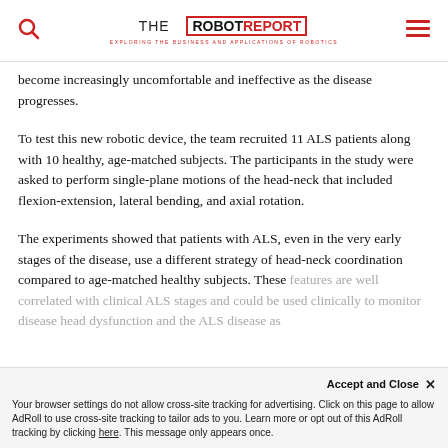THE ROBOT REPORT — EXPLORING THE BUSINESS AND APPLICATIONS OF ROBOTICS
become increasingly uncomfortable and ineffective as the disease progresses.
To test this new robotic device, the team recruited 11 ALS patients along with 10 healthy, age-matched subjects. The participants in the study were asked to perform single-plane motions of the head-neck that included flexion-extension, lateral bending, and axial rotation.
The experiments showed that patients with ALS, even in the very early stages of the disease, use a different strategy of head-neck coordination compared to age-matched healthy subjects. These features are well correlated with clinical ALS stages and could be used clinically to monitor disease head dysfunction and the ALS disease as
Accept and Close ✕
Your browser settings do not allow cross-site tracking for advertising. Click on this page to allow AdRoll to use cross-site tracking to tailor ads to you. Learn more or opt out of this AdRoll tracking by clicking here. This message only appears once.